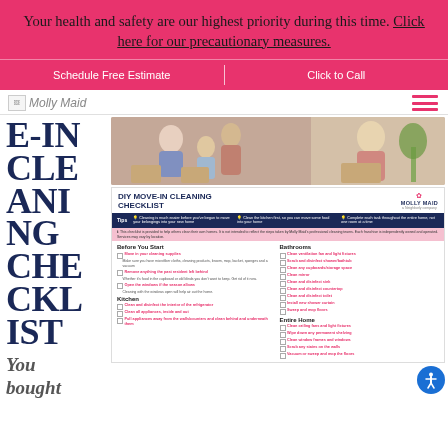Your health and safety are our highest priority during this time. Click here for our precautionary measures.
Schedule Free Estimate | Click to Call
[Figure (logo): Molly Maid logo]
E-IN CLEANING CHECKLIST
You bought
[Figure (infographic): DIY Move-In Cleaning Checklist infographic with photo of family moving in, tips bar, and two-column checklist covering Before You Start, Kitchen, Bathrooms, and Entire Home sections.]